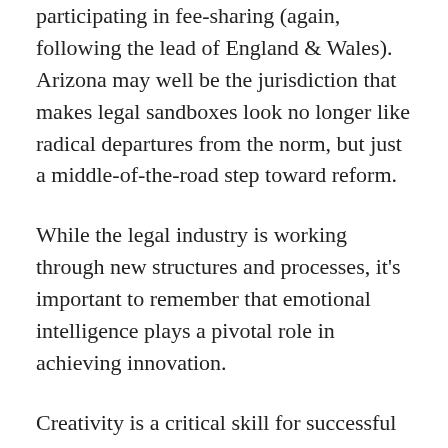participating in fee-sharing (again, following the lead of England & Wales). Arizona may well be the jurisdiction that makes legal sandboxes look no longer like radical departures from the norm, but just a middle-of-the-road step toward reform.
While the legal industry is working through new structures and processes, it's important to remember that emotional intelligence plays a pivotal role in achieving innovation.
Creativity is a critical skill for successful innovation and it is enhanced by emotional intelligence. “Ironically, when we most need creativity, we tend to be in an emotional state where creativity is least accessible. Fear and distress . . . shut off the cerebral cortex, where creativity and problem-solving live.” Emotional intelligence empowers us to shelve